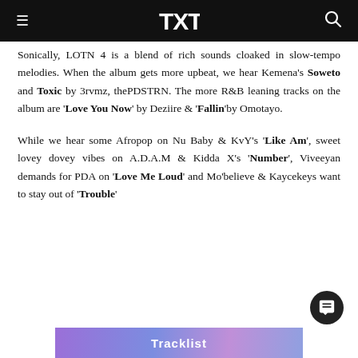TXT [logo]
Sonically, LOTN 4 is a blend of rich sounds cloaked in slow-tempo melodies. When the album gets more upbeat, we hear Kemena's Soweto and Toxic by 3rvmz, thePDSTRN. The more R&B leaning tracks on the album are 'Love You Now' by Deziire & 'Fallin' by Omotayo.
While we hear some Afropop on Nu Baby & KvY's 'Like Am', sweet lovey dovey vibes on A.D.A.M & Kidda X's 'Number', Viveeyan demands for PDA on 'Love Me Loud' and Mo'believe & Kaycekeys want to stay out of 'Trouble'
[Figure (other): Tracklist banner image with purple gradient background and white bold text reading 'Tracklist']